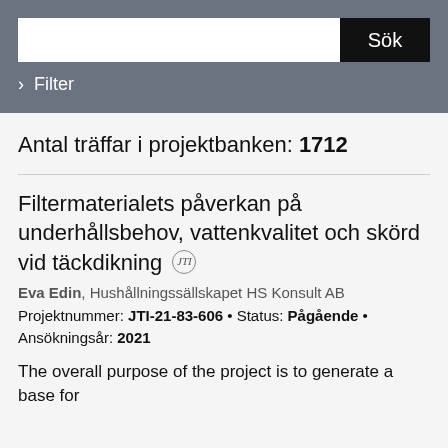[Figure (screenshot): Search bar UI with white input field and black 'Sök' button on grey background, with Filter option below]
Antal träffar i projektbanken: 1712
Filtermaterialets påverkan på underhållsbehov, vattenkvalitet och skörd vid täckdikning
Eva Edin, Hushållningssällskapet HS Konsult AB
Projektnummer: JTI-21-83-606 • Status: Pågående • Ansökningsår: 2021
The overall purpose of the project is to generate a base for